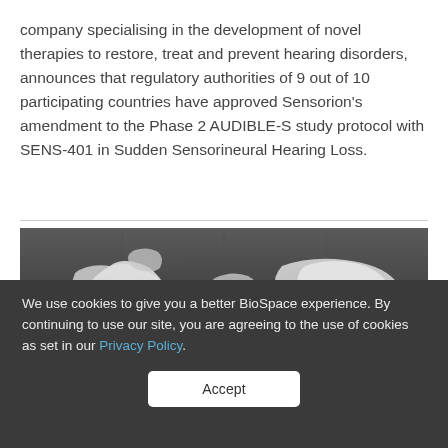company specialising in the development of novel therapies to restore, treat and prevent hearing disorders, announces that regulatory authorities of 9 out of 10 participating countries have approved Sensorion's amendment to the Phase 2 AUDIBLE-S study protocol with SENS-401 in Sudden Sensorineural Hearing Loss.
[Figure (photo): Black and white photograph of a 3D world map on a dark metallic background]
We use cookies to give you a better BioSpace experience. By continuing to use our site, you are agreeing to the use of cookies as set in our Privacy Policy.
Accept